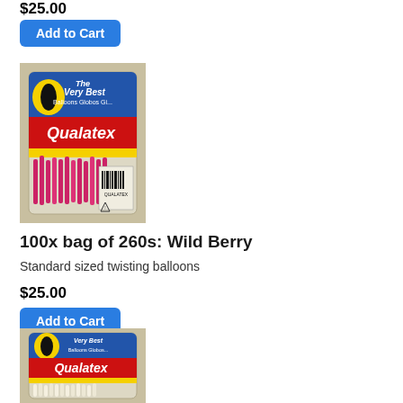$25.00
Add to Cart
[Figure (photo): Qualatex brand bag of Wild Berry 260s twisting balloons, showing pink/magenta balloon sticks inside a clear bag with blue and red Qualatex branding label]
100x bag of 260s: Wild Berry
Standard sized twisting balloons
$25.00
Add to Cart
[Figure (photo): Qualatex brand bag of 260s twisting balloons, showing white/cream colored balloon sticks inside a clear bag with blue and red Qualatex branding label]